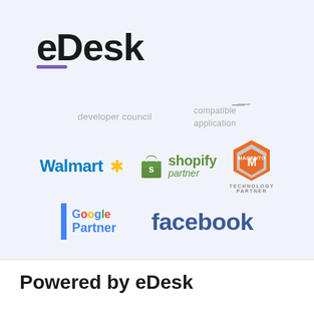[Figure (logo): eDesk logo with purple underline accent]
[Figure (logo): developer council text badge]
[Figure (logo): compatible application text badge with line]
[Figure (logo): Walmart logo with blue text and yellow spark]
[Figure (logo): Shopify Partner logo with bag icon]
[Figure (logo): Magento Technology Partner hexagon logo]
[Figure (logo): Google Partner logo with blue bar]
[Figure (logo): Facebook logo in blue]
Powered by eDesk